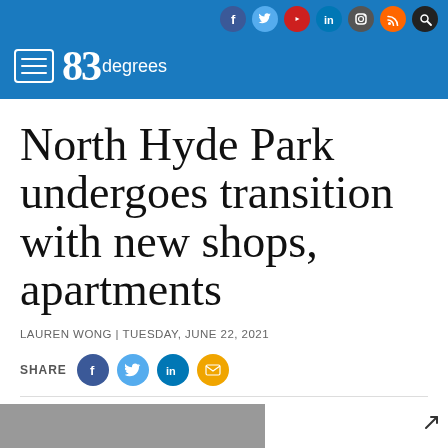83degrees — navigation header with social icons: Facebook, Twitter, YouTube, LinkedIn, Instagram, RSS, Search
North Hyde Park undergoes transition with new shops, apartments
LAUREN WONG | TUESDAY, JUNE 22, 2021
[Figure (infographic): Share buttons row: Facebook, Twitter, LinkedIn, Email]
[Figure (photo): Partial photo strip at bottom of page with expand arrow icon]